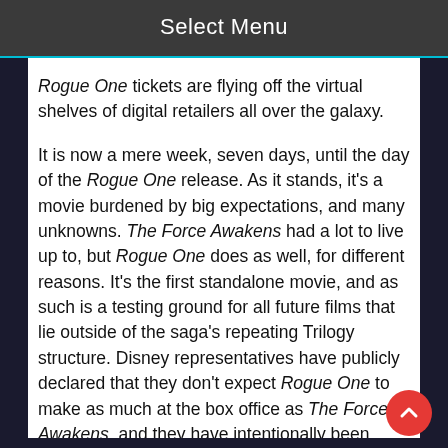Select Menu
Rogue One tickets are flying off the virtual shelves of digital retailers all over the galaxy.
It is now a mere week, seven days, until the day of the Rogue One release. As it stands, it's a movie burdened by big expectations, and many unknowns. The Force Awakens had a lot to live up to, but Rogue One does as well, for different reasons. It's the first standalone movie, and as such is a testing ground for all future films that lie outside of the saga's repeating Trilogy structure. Disney representatives have publicly declared that they don't expect Rogue One to make as much at the box office as The Force Awakens, and they have intentionally been under-hyping it in comparison to the Episode VII marketing strategy and timelines. Having said that, a lot of older fans who grew up with the Original Trilogy have experienced rapidly growing anticipation for this Star Wars story installment, as it has been progressively revealed how closely it relates and ties in to A New Hope. Consequently we